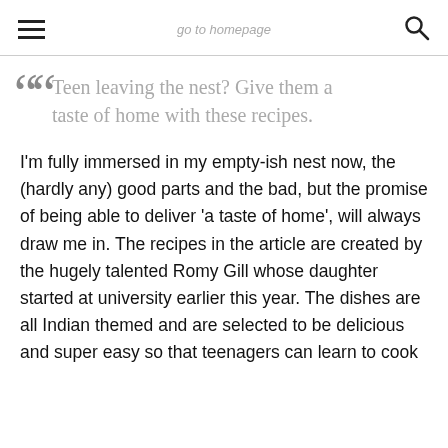go to homepage
Teen leaving the nest? Give them a taste of home with these recipes.
I'm fully immersed in my empty-ish nest now, the (hardly any) good parts and the bad, but the promise of being able to deliver 'a taste of home', will always draw me in. The recipes in the article are created by the hugely talented Romy Gill whose daughter started at university earlier this year. The dishes are all Indian themed and are selected to be delicious and super easy so that teenagers can learn to cook